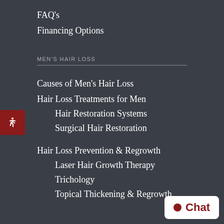FAQ's
Financing Options
MEN'S HAIR LOSS
Causes of Men's Hair Loss
Hair Loss Treatments for Men
Hair Restoration Systems
Surgical Hair Restoration
Hair Loss Prevention & Regrowth
Laser Hair Growth Therapy
Trichology
Topical Thickening & Regrowth